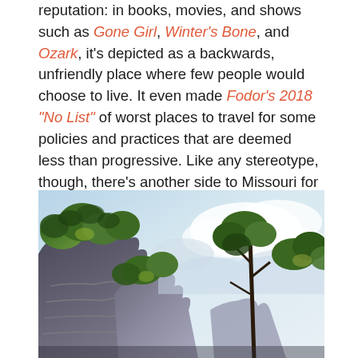reputation: in books, movies, and shows such as Gone Girl, Winter's Bone, and Ozark, it's depicted as a backwards, unfriendly place where few people would choose to live. It even made Fodor's 2018 "No List" of worst places to travel for some policies and practices that are deemed less than progressive. Like any stereotype, though, there's another side to Missouri for those that care to take a deeper look: scenic landscapes, kind and neighborly people, and the smoothest of sweet tea moonshines.
[Figure (photo): A colorized illustration or painting of dramatic rocky cliffs and trees with lush green foliage against a blue-white cloudy sky, depicting a scenic Missouri landscape.]